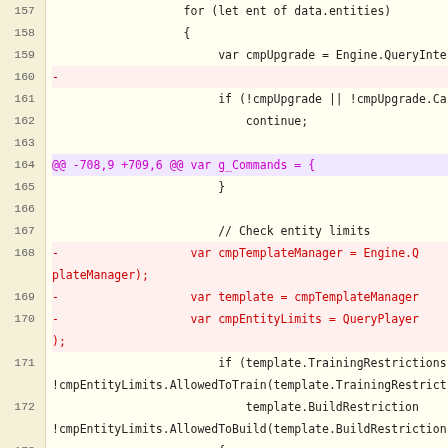Code diff view showing lines 157-177 with diff hunks and removed lines
[Figure (screenshot): Source code diff view showing JavaScript code lines 157-177 with line numbers, removed lines marked with minus signs in red, and hunk headers in magenta/purple.]